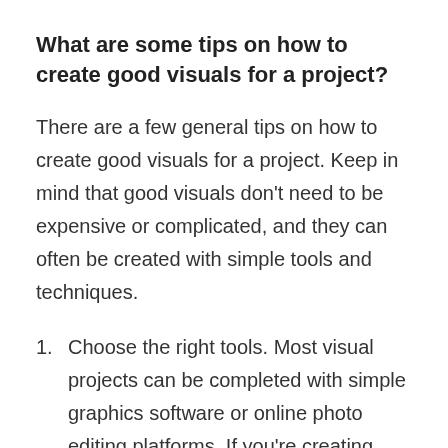What are some tips on how to create good visuals for a project?
There are a few general tips on how to create good visuals for a project. Keep in mind that good visuals don’t need to be expensive or complicated, and they can often be created with simple tools and techniques.
Choose the right tools. Most visual projects can be completed with simple graphics software or online photo editing platforms. If you’re creating graphics for print, try using Adobe Photoshop or Illustrator for the most